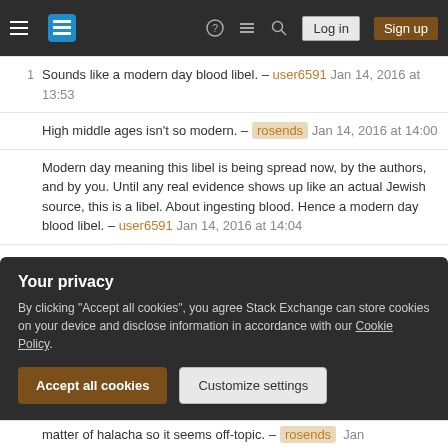Stack Exchange navigation bar with hamburger menu, logo, help, chat, search icons, Log in and Sign up buttons
1 Sounds like a modern day blood libel. – user6591 Jan 14, 2016 at 13:53
High middle ages isn't so modern. – rosends Jan 14, 2016 at 14:00
Modern day meaning this libel is being spread now, by the authors, and by you. Until any real evidence shows up like an actual Jewish source, this is a libel. About ingesting blood. Hence a modern day blood libel. – user6591 Jan 14, 2016 at 14:04
We can also discuss if there are or aren't sources which discuss whether or not there really is an assembly called the
Your privacy
By clicking "Accept all cookies", you agree Stack Exchange can store cookies on your device and disclose information in accordance with our Cookie Policy.
Accept all cookies  Customize settings
matter of halacha so it seems off-topic. – rosends Jan